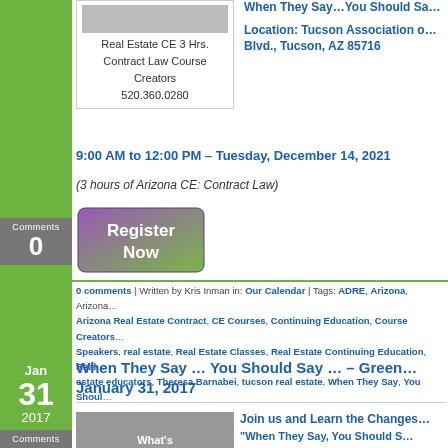[Figure (logo): Real Estate CE logo image placeholder]
Real Estate CE 3 Hrs.
Contract Law Course Creators
520.360.0280
When They Say…You Should Sa…
Location:  Tucson Association o… Blvd., Tucson, AZ 85716
9:00 AM to 12:00 PM – Tuesday, December 14, 2021
(3 hours of Arizona CE: Contract Law)
[Figure (other): Register Now button - purple/green gradient]
0 comments | Written by Kris Inman in: Our Calendar | Tags: ADRE, Arizona, Arizona… Arizona Real Estate Contract, CE Courses, Continuing Education, Course Creators… Speakers, real estate, Real Estate Classes, Real Estate Continuing Education, Real… estate educators, Theresa Barnabei, tucson real estate, When They Say, You Shoul…
Jan
31
2017
0
When They Say … You Should Say … – Green… January 31, 2017
Join us and Learn the Changes…
"When They Say, You Should S…